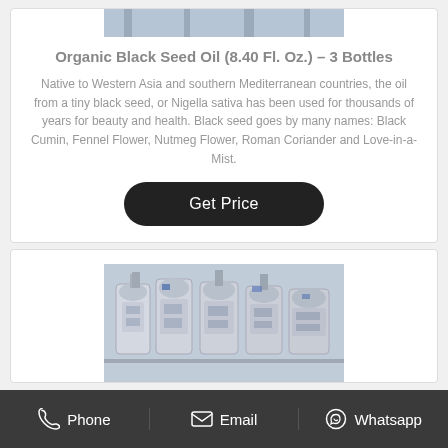[Figure (photo): Top portion of industrial oil press machinery (partially visible, cropped at top)]
Organic Black Seed Oil (8.40 Fl. Oz.) – 3 Bottles
Native to Western Asia and southern Mediterranean countries, the oil from a tiny black seed, or Nigella sativa has been used for thousands of years for beauty and health. Black seed goes by many names: Black Cumin, Fennel Flower, Nutmeg Flower, Roman Coriander and Love-in-a-Mist.
Get Price
[Figure (photo): Industrial oil press machinery — multiple large cylindrical pressing units in a factory setting]
Phone  Email  Whatsapp